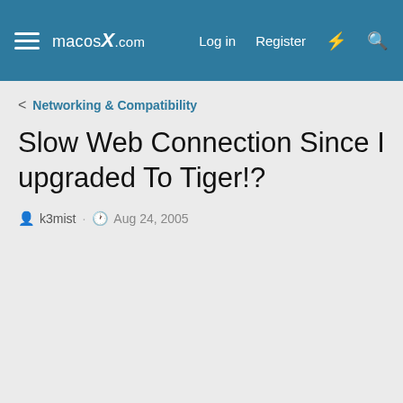macosX.com  Log in  Register
< Networking & Compatibility
Slow Web Connection Since I upgraded To Tiger!?
k3mist · Aug 24, 2005